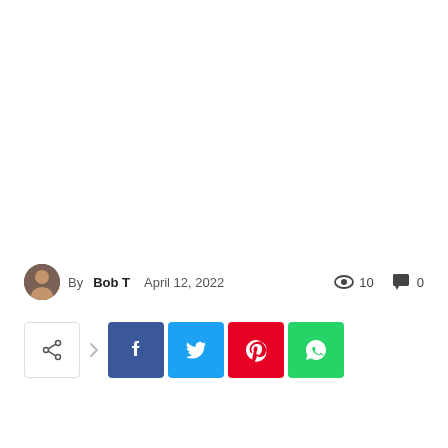By Bob T  April 12, 2022  👁 10  💬 0
[Figure (infographic): Social share buttons row: share icon button, right arrow, Facebook (blue), Twitter (cyan), Pinterest (red), WhatsApp (green)]